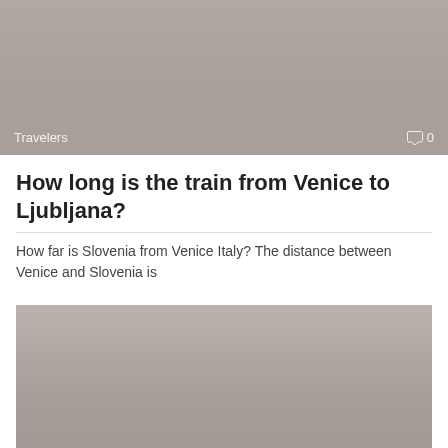[Figure (photo): Gray image placeholder with 'Travelers' label and comment count '0' at bottom]
How long is the train from Venice to Ljubljana?
How far is Slovenia from Venice Italy? The distance between Venice and Slovenia is
[Figure (photo): Gray image placeholder with 'Travelers' label and comment count '0' at bottom]
Do Italian sizes run small?
Italian sizes run small: smaller than the American, but also of the French and